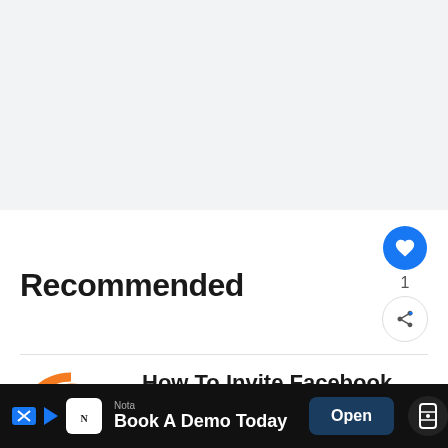[Figure (screenshot): Gray blank area at top of page, likely an ad placeholder]
Recommended
[Figure (logo): SocialHelp logo with SH letters in orange and pink, text SOCIAL HELP below]
How To Invite Facebook Friends To Follow You On Instagram? [Solved] 2022
Read More →
[Figure (screenshot): What's Next overlay: How To Turn On Selling... with dark circular icon]
[Figure (screenshot): Advertisement bar: Nota - Book A Demo Today, Open button, WearOS icon]